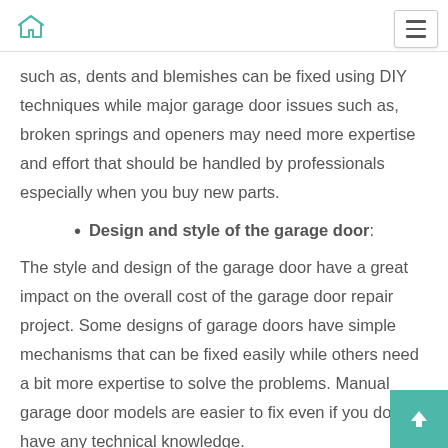such as, dents and blemishes can be fixed using DIY techniques while major garage door issues such as, broken springs and openers may need more expertise and effort that should be handled by professionals especially when you buy new parts.
Design and style of the garage door:
The style and design of the garage door have a great impact on the overall cost of the garage door repair project. Some designs of garage doors have simple mechanisms that can be fixed easily while others need a bit more expertise to solve the problems. Manual garage door models are easier to fix even if you don't have any technical knowledge.